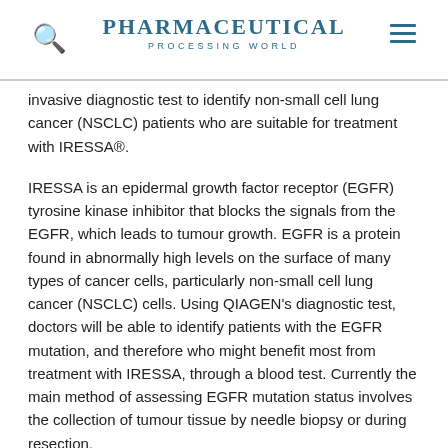PHARMACEUTICAL PROCESSING WORLD
invasive diagnostic test to identify non-small cell lung cancer (NSCLC) patients who are suitable for treatment with IRESSA®.
IRESSA is an epidermal growth factor receptor (EGFR) tyrosine kinase inhibitor that blocks the signals from the EGFR, which leads to tumour growth. EGFR is a protein found in abnormally high levels on the surface of many types of cancer cells, particularly non-small cell lung cancer (NSCLC) cells. Using QIAGEN's diagnostic test, doctors will be able to identify patients with the EGFR mutation, and therefore who might benefit most from treatment with IRESSA, through a blood test. Currently the main method of assessing EGFR mutation status involves the collection of tumour tissue by needle biopsy or during resection.
QIAGEN's test uses a highly sensitive assay to detect EGFR